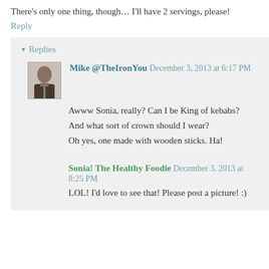There's only one thing, though… I'll have 2 servings, please!
Reply
▾ Replies
Mike @TheIronYou December 3, 2013 at 6:17 PM
Awww Sonia, really? Can I be King of kebabs?
And what sort of crown should I wear?
Oh yes, one made with wooden sticks. Ha!
Sonia! The Healthy Foodie December 3, 2013 at 8:25 PM
LOL! I'd love to see that! Please post a picture! :)